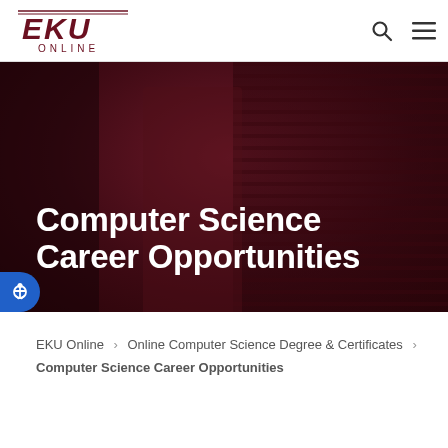EKU Online – navigation header with logo, search icon, and menu icon
Computer Science Career Opportunities
[Figure (photo): Dark red-tinted hero image showing a person working near a server rack in a data center environment]
EKU Online > Online Computer Science Degree & Certificates > Computer Science Career Opportunities